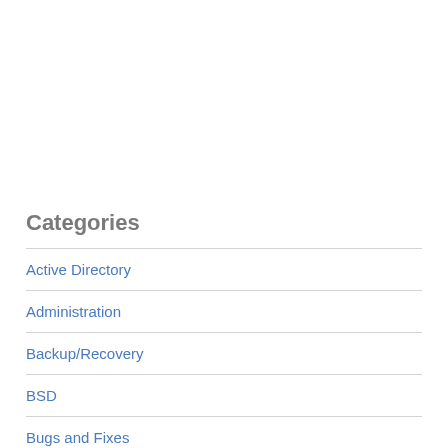Categories
Active Directory
Administration
Backup/Recovery
BSD
Bugs and Fixes
Certification